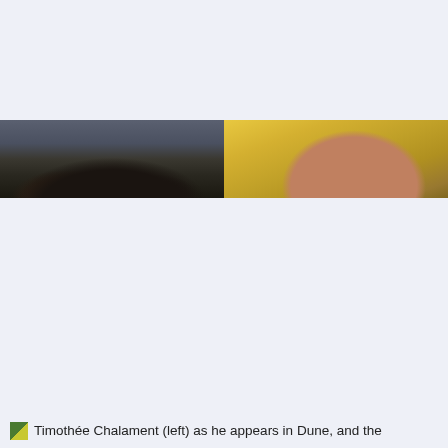[Figure (photo): Two side-by-side cropped photos forming a horizontal strip. Left photo shows the top of a person's head with dark hair against a muted dark background. Right photo shows the top of a person's bald/shaved head against a warm golden/yellow blurred background.]
Timothée Chalament (left) as he appears in Dune, and the